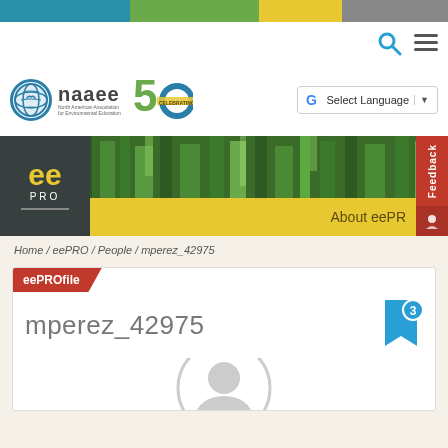[Figure (screenshot): NAAEE website screenshot showing top color bar, header with logo, eePRO banner, and user profile page for mperez_42975]
naaee — North American Association for Environmental Education — 50th Anniversary
Home / eePRO / People / mperez_42975
eePROfile
mperez_42975